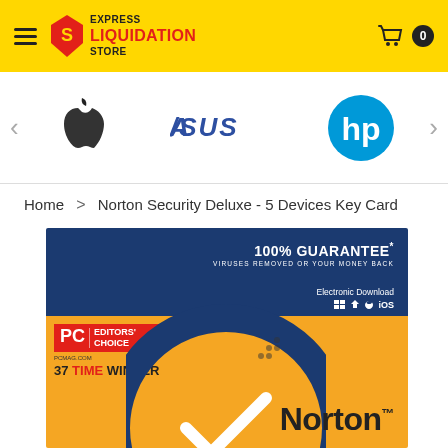Express Liquidation Store
[Figure (logo): Apple, ASUS, and HP brand logos in a carousel]
Home > Norton Security Deluxe - 5 Devices Key Card
[Figure (photo): Norton Security Deluxe product box image showing 100% Guarantee, PC Mag Editors' Choice 37 Time Winner badge, Electronic Download available on Windows/Android/iOS, yellow and blue box with Norton logo and checkmark]